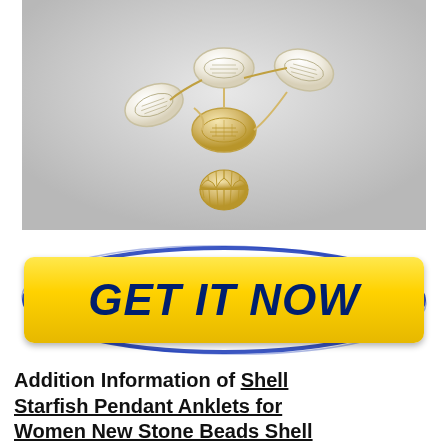[Figure (photo): A shell and cowrie bead necklace/anklet bracelet with a gold scallop shell pendant charm, photographed on a light grey background.]
[Figure (infographic): A yellow rounded rectangle button with bold dark navy italic text reading GET IT NOW, surrounded by a blue oval border outline.]
Addition Information of Shell Starfish Pendant Anklets for Women New Stone Beads Shell Anklet Bohemian Bracelets On